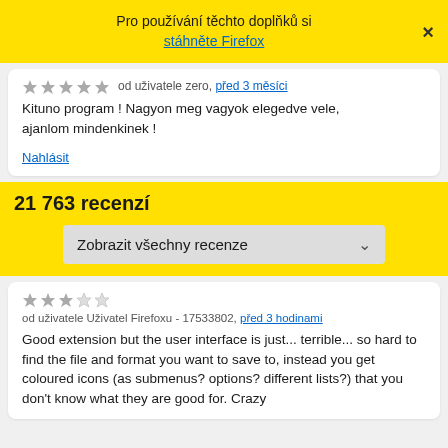Pro používání těchto doplňků si stáhněte Firefox
od uživatele zero, před 3 měsíci
Kituno program ! Nagyon meg vagyok elegedve vele, ajanlom mindenkinek !
Nahlásit
21 763 recenzí
Zobrazit všechny recenze
od uživatele Uživatel Firefoxu - 17533802, před 3 hodinami
Good extension but the user interface is just... terrible... so hard to find the file and format you want to save to, instead you get coloured icons (as submenus? options? different lists?) that you don't know what they are good for. Crazy